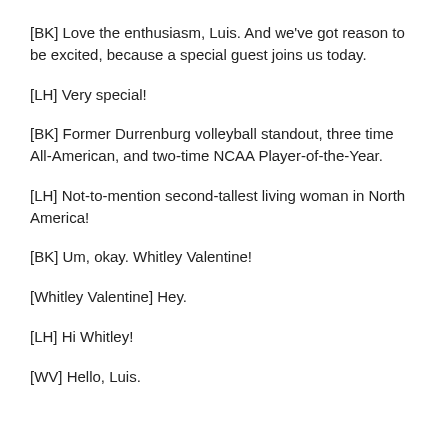[BK] Love the enthusiasm, Luis. And we've got reason to be excited, because a special guest joins us today.
[LH] Very special!
[BK] Former Durrenburg volleyball standout, three time All-American, and two-time NCAA Player-of-the-Year.
[LH] Not-to-mention second-tallest living woman in North America!
[BK] Um, okay. Whitley Valentine!
[Whitley Valentine] Hey.
[LH] Hi Whitley!
[WV] Hello, Luis.